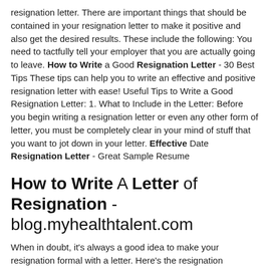resignation letter. There are important things that should be contained in your resignation letter to make it positive and also get the desired results. These include the following: You need to tactfully tell your employer that you are actually going to leave. How to Write a Good Resignation Letter - 30 Best Tips These tips can help you to write an effective and positive resignation letter with ease! Useful Tips to Write a Good Resignation Letter: 1. What to Include in the Letter: Before you begin writing a resignation letter or even any other form of letter, you must be completely clear in your mind of stuff that you want to jot down in your letter. Effective Date Resignation Letter - Great Sample Resume
How to Write A Letter of Resignation - blog.myhealthtalent.com
When in doubt, it's always a good idea to make your resignation formal with a letter. Here's the resignation...